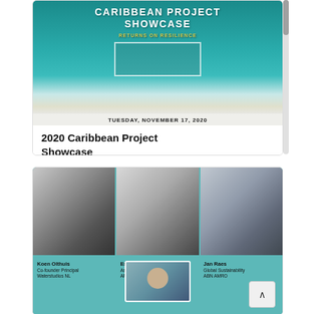[Figure (photo): Event banner image for 2020 Caribbean Project Showcase: Returns on Resilience. Shows aerial teal/turquoise water with text overlaid. Date shown: Tuesday, November 17, 2020.]
2020 Caribbean Project Showcase
[Figure (photo): Three speaker headshots (black and white/grayscale photos) arranged side by side: Koen Olthuis (Co-founder Principal, Waterstudios NL), Esteban Biondi (Associate Principal, AFM), Jan Raes (Global Sustainability, ABN AMRO). A fourth partially visible face appears at the bottom center.]